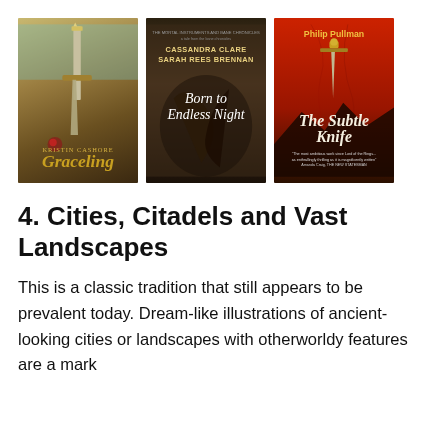[Figure (illustration): Three fantasy book covers side by side: 'Graceling' by Kristin Cashore (ornate dagger on teal/gold background), 'Born to Endless Night' by Cassandra Clare and Sarah Rees Brennan (dark atmospheric cover), and 'The Subtle Knife' by Philip Pullman (dagger on red background)]
4. Cities, Citadels and Vast Landscapes
This is a classic tradition that still appears to be prevalent today. Dream-like illustrations of ancient-looking cities or landscapes with otherworldy features are a mark